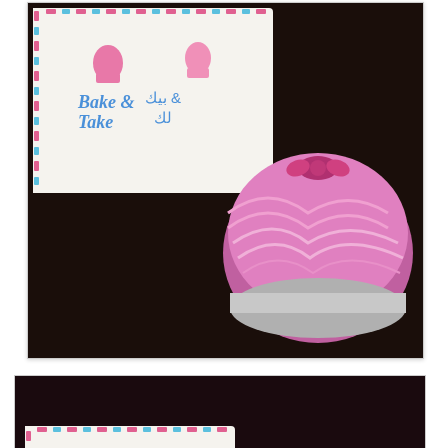[Figure (photo): Photo of a Bake & Take branded card/box with a pink covered round tin/container on a dark background. The card shows the Bake & Take logo in blue and pink with Arabic text.]
[Figure (photo): Photo of a Bake & Take branded card/box next to a round metal baking tin containing a golden/yellow baked item (possibly a cake or kunafa), placed on a pink cloth/fabric against a dark background.]